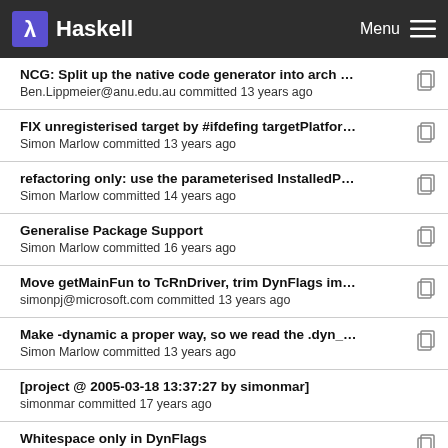Haskell   Menu
NCG: Split up the native code generator into arch ...
Ben.Lippmeier@anu.edu.au committed 13 years ago
FIX unregisterised target by #ifdefing targetPlatfor...
Simon Marlow committed 13 years ago
refactoring only: use the parameterised InstalledP...
Simon Marlow committed 14 years ago
Generalise Package Support
Simon Marlow committed 16 years ago
Move getMainFun to TcRnDriver, trim DynFlags im...
simonpj@microsoft.com committed 13 years ago
Make -dynamic a proper way, so we read the .dyn_...
Simon Marlow committed 13 years ago
[project @ 2005-03-18 13:37:27 by simonmar]
simonmar committed 17 years ago
Whitespace only in DynFlags
Ian Lynagh committed 14 years ago